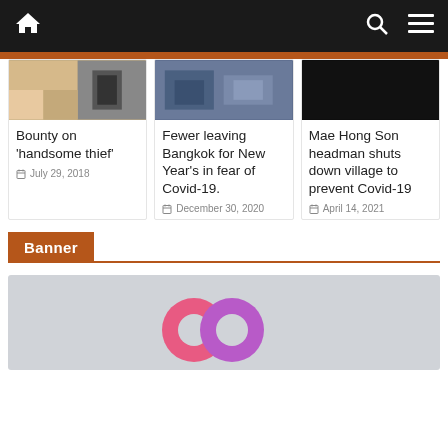Navigation bar with home, search, and menu icons
Bounty on 'handsome thief' — July 29, 2018
Fewer leaving Bangkok for New Year's in fear of Covid-19. — December 30, 2020
Mae Hong Son headman shuts down village to prevent Covid-19 — April 14, 2021
Banner
[Figure (other): Banner placeholder with two overlapping donut/ring icons in pink and purple on a light grey background]